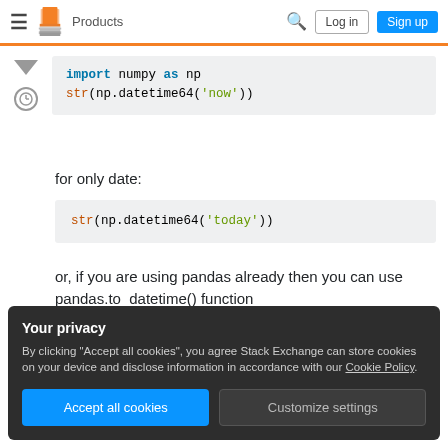Stack Overflow navigation bar with Products, Log in, Sign up
[Figure (screenshot): Code block showing: import numpy as np / str(np.datetime64('now'))]
for only date:
[Figure (screenshot): Code block showing: str(np.datetime64('today'))]
or, if you are using pandas already then you can use pandas.to_datetime() function
Your privacy
By clicking "Accept all cookies", you agree Stack Exchange can store cookies on your device and disclose information in accordance with our Cookie Policy.
Accept all cookies  Customize settings